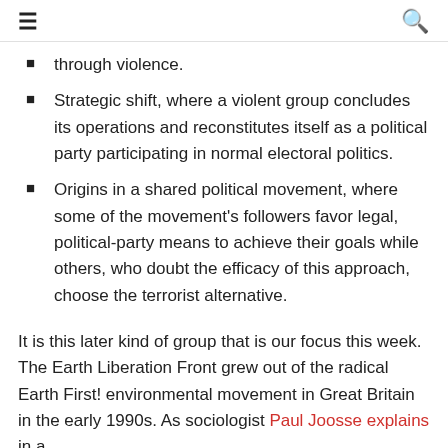≡  🔍
through violence.
Strategic shift, where a violent group concludes its operations and reconstitutes itself as a political party participating in normal electoral politics.
Origins in a shared political movement, where some of the movement's followers favor legal, political-party means to achieve their goals while others, who doubt the efficacy of this approach, choose the terrorist alternative.
It is this later kind of group that is our focus this week. The Earth Liberation Front grew out of the radical Earth First! environmental movement in Great Britain in the early 1990s. As sociologist Paul Joosse explains in a